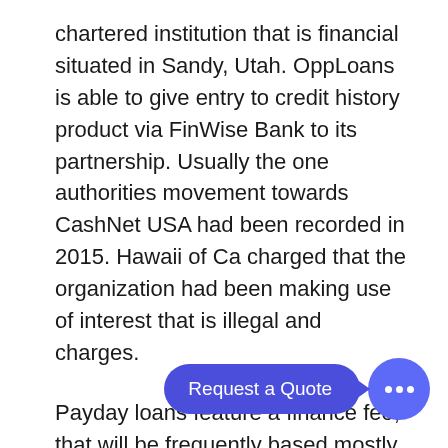chartered institution that is financial situated in Sandy, Utah. OppLoans is able to give entry to credit history product via FinWise Bank to its partnership. Usually the one authorities movement towards CashNet USA had been recorded in 2015. Hawaii of Ca charged that the organization had been making use of interest that is illegal and charges.
Payday loans feature a finance fee, that will be frequently based mostly in your loan quantity. Because payday advances have actually such fast settlement terms, these expenses translate up to a steep APR. In accordance with the customer Federation of America , APR usually are four hundred% or additional.